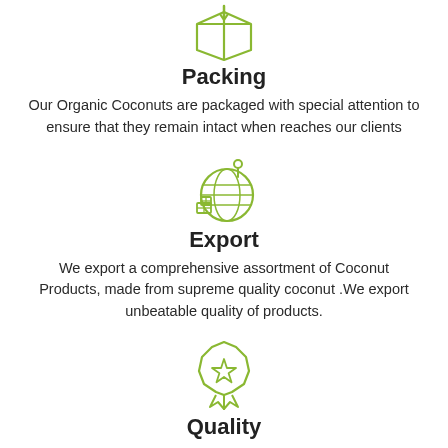[Figure (illustration): Green outline icon of a package/box with a downward arrow, representing packing]
Packing
Our Organic Coconuts are packaged with special attention to ensure that they remain intact when reaches our clients
[Figure (illustration): Green outline icon of a globe with a location pin and shipping boxes at the bottom, representing export]
Export
We export a comprehensive assortment of Coconut Products, made from supreme quality coconut .We export unbeatable quality of products.
[Figure (illustration): Green outline icon of a quality badge/medal with a star, representing quality]
Quality
We are giving supreme the quality of all...